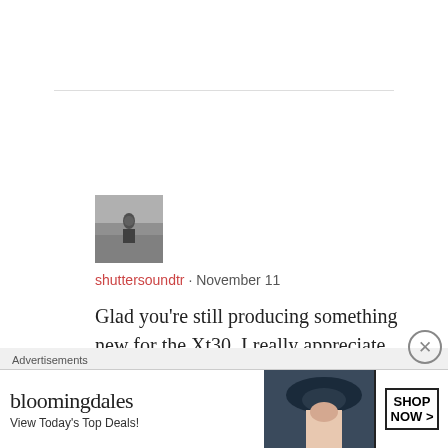[Figure (photo): Small black and white avatar photo of a figure in a landscape]
shuttersoundtr · November 11
Glad you're still producing something new for the Xt30. I really appreciate you! Thank you so much, you are great!
★ Liked by 1 person
Advertisements
[Figure (screenshot): Bloomingdales advertisement banner: bloomingdales logo, View Today's Top Deals!, image of woman in hat, SHOP NOW >]